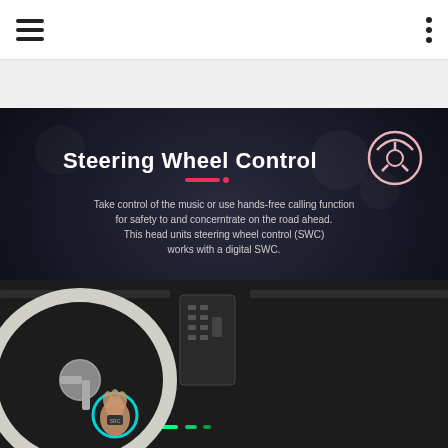Navigation menu header with hamburger icon and vertical dots menu
[Figure (photo): Steering Wheel Control product page image showing a dark background with title 'Steering Wheel Control', steering wheel icon, descriptive text about hands-free calling, and a photo of a car interior with a steering wheel showing a hand pressing a button highlighted by a teal circle.]